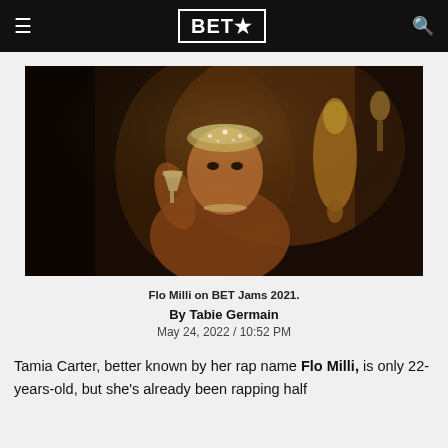BET★
[Figure (photo): Flo Milli performing or posing in a glamorous 1920s-style setting, holding a martini glass, wearing a beaded headpiece, in dark warm-toned lighting with gold vase in background.]
Flo Milli on BET Jams 2021.
By Tabie Germain
May 24, 2022 / 10:52 PM
Tamia Carter, better known by her rap name Flo Milli, is only 22-years-old, but she's already been rapping half